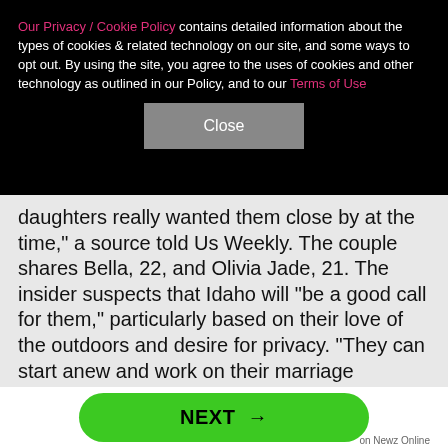Our Privacy / Cookie Policy contains detailed information about the types of cookies & related technology on our site, and some ways to opt out. By using the site, you agree to the uses of cookies and other technology as outlined in our Policy, and to our Terms of Use
Close
daughters really wanted them close by at the time," a source told Us Weekly. The couple shares Bella, 22, and Olivia Jade, 21. The insider suspects that Idaho will "be a good call for them," particularly based on their love of the outdoors and desire for privacy. "They can start anew and work on their marriage together as the whole college scandal has taken a toll on both of them, as well as their marriage," the source concluded.
X
NEXT →
on Newz Online